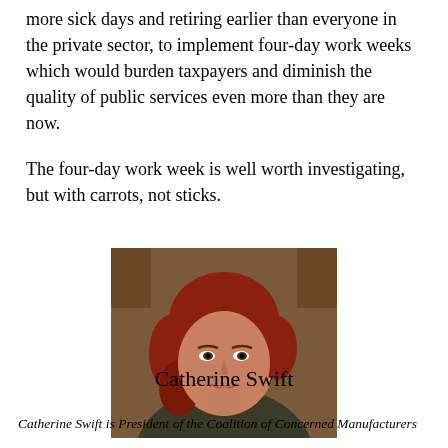more sick days and retiring earlier than everyone in the private sector, to implement four-day work weeks which would burden taxpayers and diminish the quality of public services even more than they are now.
The four-day work week is well worth investigating, but with carrots, not sticks.
[Figure (photo): Portrait photo of Catherine Swift, a woman with reddish-brown hair, wearing a dark green top, resting her chin on her hand against a brown background.]
Catherine Swift
Catherine Swift is President of the Coalition of Concerned Manufacturers